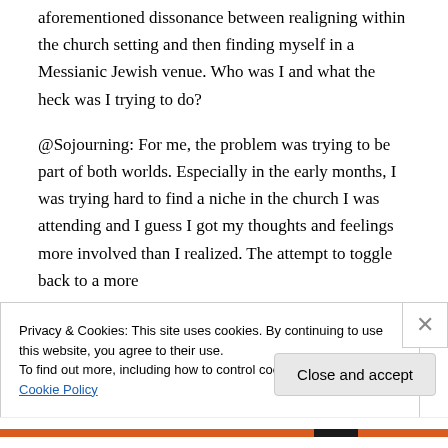aforementioned dissonance between realigning within the church setting and then finding myself in a Messianic Jewish venue. Who was I and what the heck was I trying to do?
@Sojourning: For me, the problem was trying to be part of both worlds. Especially in the early months, I was trying hard to find a niche in the church I was attending and I guess I got my thoughts and feelings more involved than I realized. The attempt to toggle back to a more
Privacy & Cookies: This site uses cookies. By continuing to use this website, you agree to their use.
To find out more, including how to control cookies, see here: Cookie Policy
Close and accept